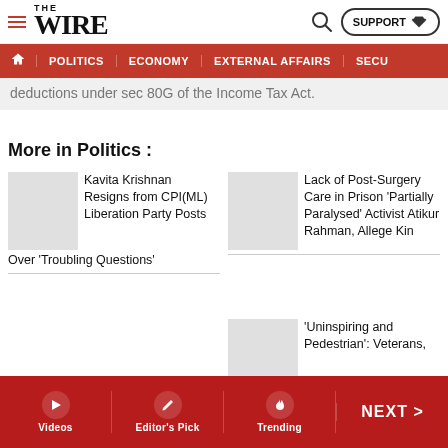THE WIRE — SUPPORT — navigation: POLITICS, ECONOMY, EXTERNAL AFFAIRS, SECU...
deductions under sec 80G of the Income Tax Act.
More in Politics :
[Figure (photo): Thumbnail image placeholder for Kavita Krishnan article]
Kavita Krishnan Resigns from CPI(ML) Liberation Party Posts Over 'Troubling Questions'
[Figure (photo): Thumbnail image placeholder for Lack of Post-Surgery Care article]
Lack of Post-Surgery Care in Prison 'Partially Paralysed' Activist Atikur Rahman, Allege Kin
[Figure (photo): Thumbnail image placeholder for Uninspiring and Pedestrian article]
'Uninspiring and Pedestrian': Veterans,
Videos | Editor's Pick | Trending | NEXT >